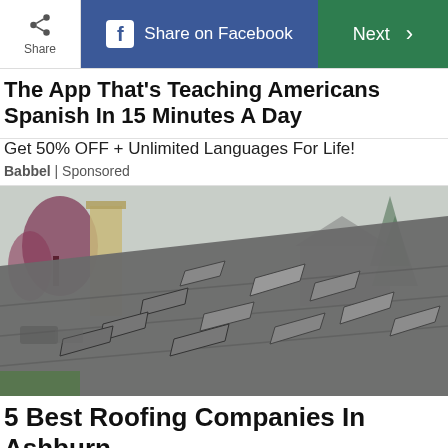Share | Share on Facebook | Next >
The App That's Teaching Americans Spanish In 15 Minutes A Day
Get 50% OFF + Unlimited Languages For Life!
Babbel | Sponsored
[Figure (photo): A damaged roof with shingles curling and lifting, with a chimney visible on the left, trees and a house in the background.]
5 Best Roofing Companies In Ashburn